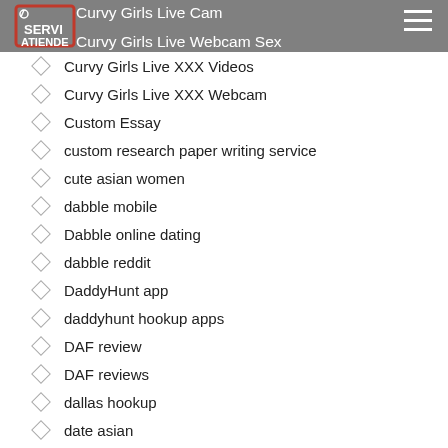Curvy Girls Live Cam
Curvy Girls Live Webcam Sex
Curvy Girls Live XXX Videos
Curvy Girls Live XXX Webcam
Custom Essay
custom research paper writing service
cute asian women
dabble mobile
Dabble online dating
dabble reddit
DaddyHunt app
daddyhunt hookup apps
DAF review
DAF reviews
dallas hookup
date asian
Date50 abonnement